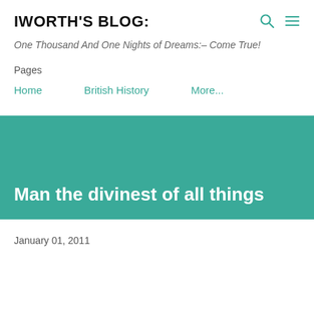IWORTH'S BLOG:
One Thousand And One Nights of Dreams:– Come True!
Pages
Home
British History
More...
Man the divinest of all things
January 01, 2011